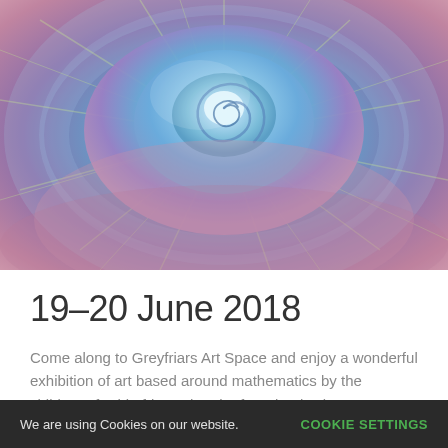[Figure (illustration): Close-up fractal spiral art resembling a nautilus shell or ammonite, rendered in blue, purple, and yellow-green tones with a spiral center and radiating patterns.]
19–20 June 2018
Come along to Greyfriars Art Space and enjoy a wonderful exhibition of art based around mathematics by the children of Whitefriars Church of England Primary Academy. Open: 9.30am – 4pm...
We are using Cookies on our website.  COOKIE SETTINGS